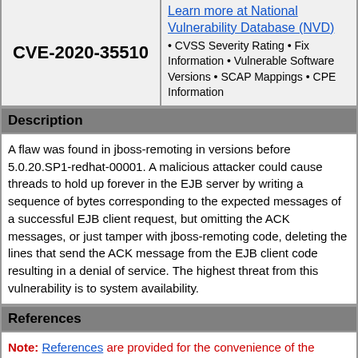CVE-2020-35510
Learn more at National Vulnerability Database (NVD) • CVSS Severity Rating • Fix Information • Vulnerable Software Versions • SCAP Mappings • CPE Information
Description
A flaw was found in jboss-remoting in versions before 5.0.20.SP1-redhat-00001. A malicious attacker could cause threads to hold up forever in the EJB server by writing a sequence of bytes corresponding to the expected messages of a successful EJB client request, but omitting the ACK messages, or just tamper with jboss-remoting code, deleting the lines that send the ACK message from the EJB client code resulting in a denial of service. The highest threat from this vulnerability is to system availability.
References
Note: References are provided for the convenience of the reader to help distinguish between vulnerabilities. The list is not intended to be complete.
MISC:https://bugzilla.redhat.com/show_bug.cgi?id=1905796
URL:https://bugzilla.redhat.com/show_bug.cgi?